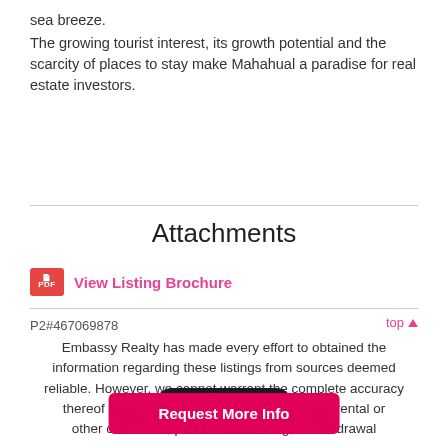sea breeze.
The growing tourist interest, its growth potential and the scarcity of places to stay make Mahahual a paradise for real estate investors.
Attachments
View Listing Brochure
P2#467069878
top ▲
Embassy Realty has made every effort to obtained the information regarding these listings from sources deemed reliable. However, we cannot warrant the complete accuracy thereof subject to errors, change of price, rental or other conditions, prior sale, financing, or withdrawal.
Back to Top
Request More Info